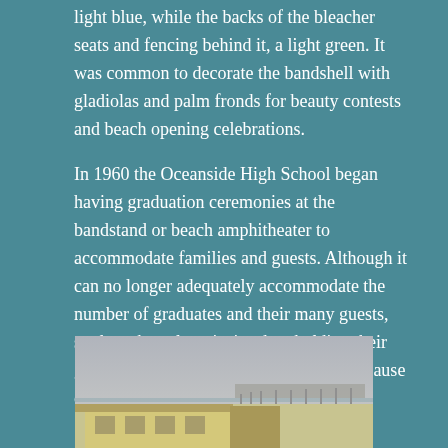light blue, while the backs of the bleacher seats and fencing behind it, a light green. It was common to decorate the bandshell with gladiolas and palm fronds for beauty contests and beach opening celebrations.
In 1960 the Oceanside High School began having graduation ceremonies at the bandstand or beach amphitheater to accommodate families and guests. Although it can no longer adequately accommodate the number of graduates and their many guests, students have long insisted on holding their graduation ceremony at the bandshell because of the longstanding tradition.
[Figure (photo): A photo of what appears to be a beach bandshell or amphitheater structure with a pier visible in the background, taken under an overcast sky.]